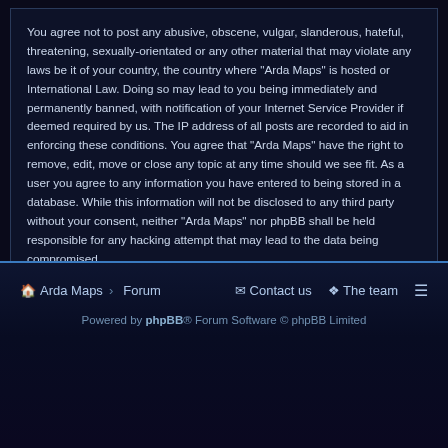You agree not to post any abusive, obscene, vulgar, slanderous, hateful, threatening, sexually-orientated or any other material that may violate any laws be it of your country, the country where "Arda Maps" is hosted or International Law. Doing so may lead to you being immediately and permanently banned, with notification of your Internet Service Provider if deemed required by us. The IP address of all posts are recorded to aid in enforcing these conditions. You agree that "Arda Maps" have the right to remove, edit, move or close any topic at any time should we see fit. As a user you agree to any information you have entered to being stored in a database. While this information will not be disclosed to any third party without your consent, neither "Arda Maps" nor phpBB shall be held responsible for any hacking attempt that may lead to the data being compromised.
I agree to these terms
I do not agree to these terms
Arda Maps  Forum  Contact us  The team  Powered by phpBB® Forum Software © phpBB Limited